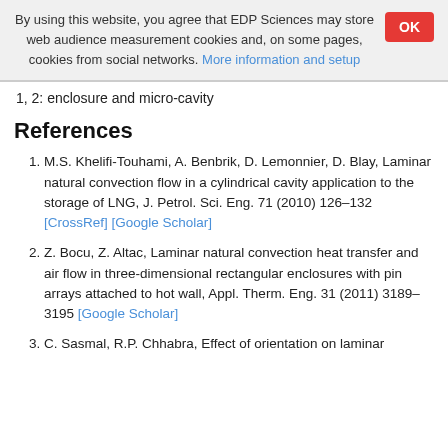By using this website, you agree that EDP Sciences may store web audience measurement cookies and, on some pages, cookies from social networks. More information and setup
1, 2: enclosure and micro-cavity
References
M.S. Khelifi-Touhami, A. Benbrik, D. Lemonnier, D. Blay, Laminar natural convection flow in a cylindrical cavity application to the storage of LNG, J. Petrol. Sci. Eng. 71 (2010) 126–132 [CrossRef] [Google Scholar]
Z. Bocu, Z. Altac, Laminar natural convection heat transfer and air flow in three-dimensional rectangular enclosures with pin arrays attached to hot wall, Appl. Therm. Eng. 31 (2011) 3189–3195 [Google Scholar]
C. Sasmal, R.P. Chhabra, Effect of orientation on laminar